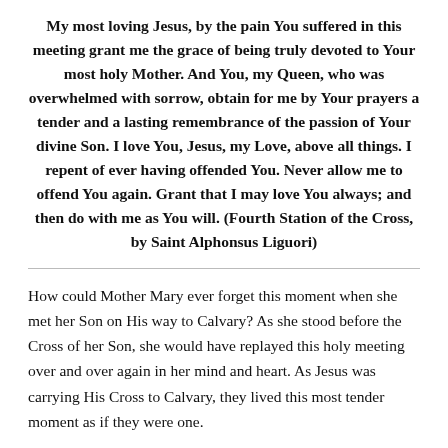My most loving Jesus, by the pain You suffered in this meeting grant me the grace of being truly devoted to Your most holy Mother. And You, my Queen, who was overwhelmed with sorrow, obtain for me by Your prayers a tender and a lasting remembrance of the passion of Your divine Son. I love You, Jesus, my Love, above all things. I repent of ever having offended You. Never allow me to offend You again. Grant that I may love You always; and then do with me as You will. (Fourth Station of the Cross, by Saint Alphonsus Liguori)
How could Mother Mary ever forget this moment when she met her Son on His way to Calvary? As she stood before the Cross of her Son, she would have replayed this holy meeting over and over again in her mind and heart. As Jesus was carrying His Cross to Calvary, they lived this most tender moment as if they were one.